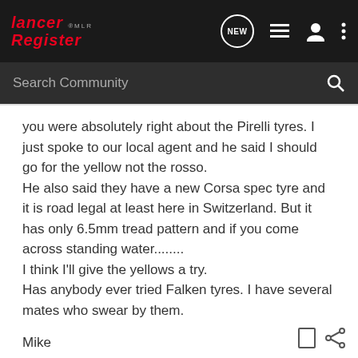Lancer Register MLR — Navigation bar with NEW, list, user, and menu icons
Search Community
you were absolutely right about the Pirelli tyres. I just spoke to our local agent and he said I should go for the yellow not the rosso.
He also said they have a new Corsa spec tyre and it is road legal at least here in Switzerland. But it has only 6.5mm tread pattern and if you come across standing water........
I think I'll give the yellows a try.
Has anybody ever tried Falken tyres. I have several mates who swear by them.
Mike